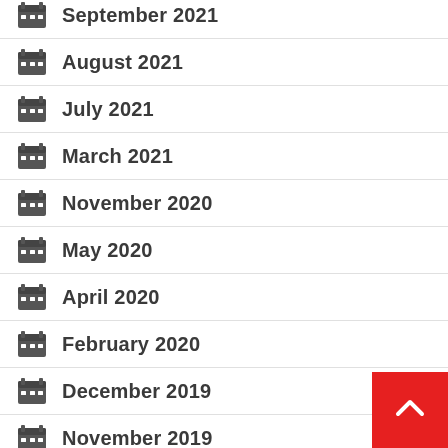September 2021
August 2021
July 2021
March 2021
November 2020
May 2020
April 2020
February 2020
December 2019
November 2019
February 2019
January 2019
December 2018
November 2018